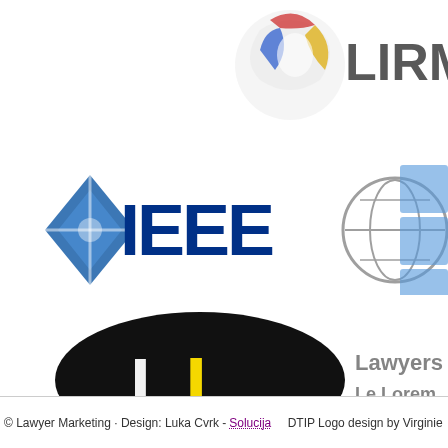[Figure (logo): Partial logo at top center - appears to be LIRM... organization logo with colorful globe/puzzle icon, cropped at right edge]
[Figure (logo): IEEE logo with blue diamond/star icon on left and bold blue IEEE text, partially cropped. To the right is another partially cropped logo with circular globe icon and blue grid/network pattern.]
[Figure (logo): Black oval logo with white and yellow L letters (LL) on left, followed by blurred dark text logo on right, partially cropped]
© Lawyer Marketing · Design: Luka Cvrk - Solucija     DTIP Logo design by Virginie